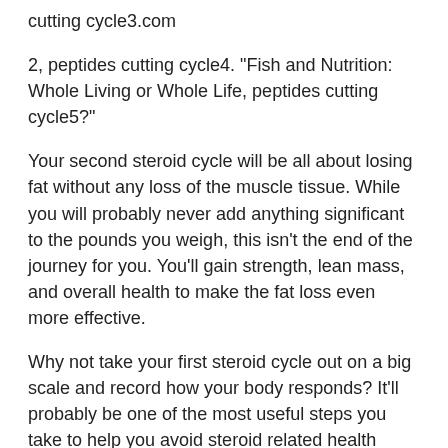cutting cycle3.com
2, peptides cutting cycle4. "Fish and Nutrition: Whole Living or Whole Life, peptides cutting cycle5?"
Your second steroid cycle will be all about losing fat without any loss of the muscle tissue. While you will probably never add anything significant to the pounds you weigh, this isn't the end of the journey for you. You'll gain strength, lean mass, and overall health to make the fat loss even more effective.
Why not take your first steroid cycle out on a big scale and record how your body responds? It'll probably be one of the most useful steps you take to help you avoid steroid related health issues down the road.
So now that you've seen this, what do you